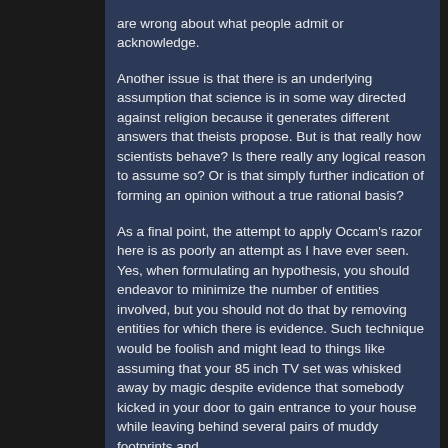are wrong about what people admit or acknowledge.

Another issue is that there is an underlying assumption that science is in some way directed against religion because it generates different answers that theists propose. But is that really how scientists behave? Is there really any logical reason to assume so? Or is that simply further indication of forming an opinion without a true rational basis?

As a final point, the attempt to apply Occam's razor here is as poorly an attempt as I have ever seen. Yes, when formulating an hypothesis, you should endeavor to minimize the number of entities involved, but you should not do that by removing entities for which there is evidence. Such technique would be foolish and might lead to things like assuming that your 85 inch TV set was whisked away by magic despite evidence that somebody kicked in your door to gain entrance to your house while leaving behind several pairs of muddy footprints and